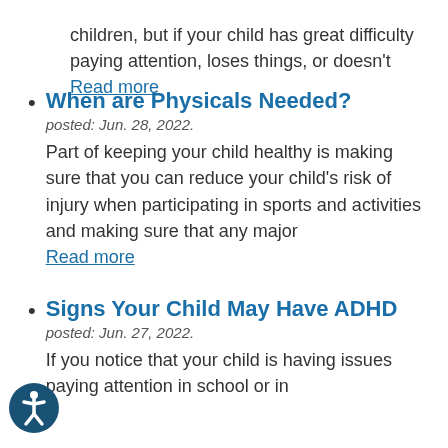children, but if your child has great difficulty paying attention, loses things, or doesn't Read more
When are Physicals Needed?
posted: Jun. 28, 2022.
Part of keeping your child healthy is making sure that you can reduce your child's risk of injury when participating in sports and activities and making sure that any major Read more
Signs Your Child May Have ADHD
posted: Jun. 27, 2022.
If you notice that your child is having issues paying attention in school or in